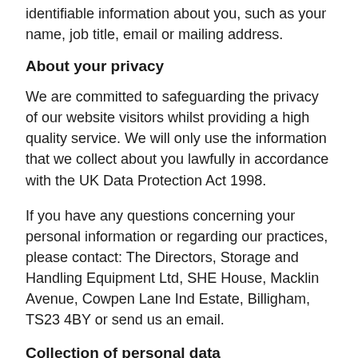identifiable information about you, such as your name, job title, email or mailing address.
About your privacy
We are committed to safeguarding the privacy of our website visitors whilst providing a high quality service. We will only use the information that we collect about you lawfully in accordance with the UK Data Protection Act 1998.
If you have any questions concerning your personal information or regarding our practices, please contact: The Directors, Storage and Handling Equipment Ltd, SHE House, Macklin Avenue, Cowpen Lane Ind Estate, Billigham, TS23 4BY or send us an email.
Collection of personal data